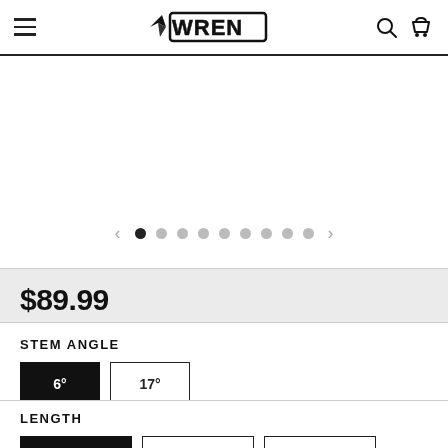WREN - navigation header with hamburger menu, logo, search and cart icons
[Figure (screenshot): Product image carousel area with left/right arrows and 9 pagination dots, first dot active]
$89.99
STEM ANGLE
6° (selected), 17°
LENGTH